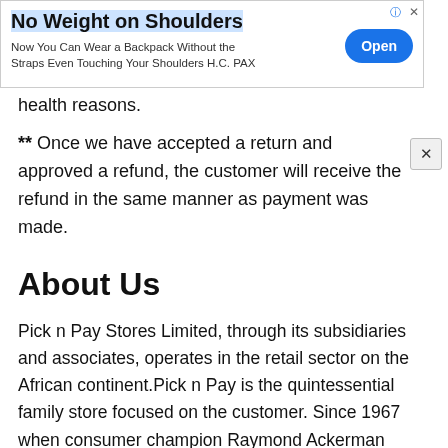[Figure (other): Advertisement banner: 'No Weight on Shoulders' with subtitle 'Now You Can Wear a Backpack Without the Straps Even Touching Your Shoulders H.C. PAX' and an 'Open' button]
health reasons.
** Once we have accepted a return and approved a refund, the customer will receive the refund in the same manner as payment was made.
About Us
Pick n Pay Stores Limited, through its subsidiaries and associates, operates in the retail sector on the African continent.Pick n Pay is the quintessential family store focused on the customer. Since 1967 when consumer champion Raymond Ackerman purchased the first few stores, the Ackerman family's vision has grown and expanded to now encompass stores in South Africa...